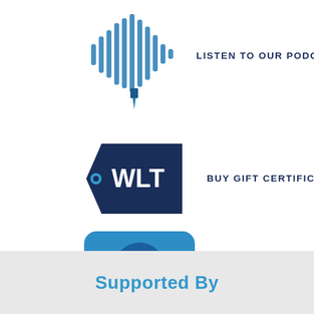[Figure (logo): Podcast audio waveform logo in blue with a pencil/microphone tip]
LISTEN TO OUR PODCAST
[Figure (logo): WLT dark navy price-tag shaped logo with WLT text in white]
BUY GIFT CERTIFICATES
[Figure (logo): Scribe blog logo — blue rounded square with Scribe text and comma/apostrophe mark]
VISIT OUR BLOG
Supported By